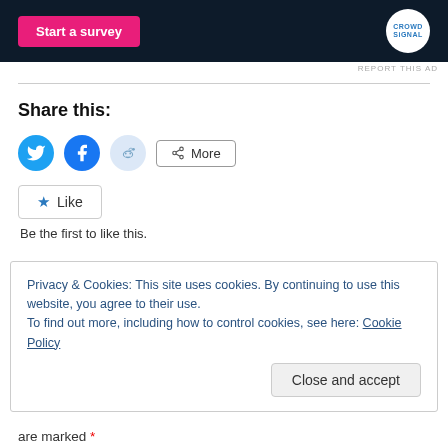[Figure (screenshot): Dark banner ad with pink 'Start a survey' button and CrowdSignal logo circle on right]
REPORT THIS AD
Share this:
[Figure (infographic): Social share icons: Twitter (blue circle), Facebook (blue circle), Reddit (light blue circle), and a More button]
[Figure (infographic): Like button with star icon]
Be the first to like this.
Privacy & Cookies: This site uses cookies. By continuing to use this website, you agree to their use.
To find out more, including how to control cookies, see here: Cookie Policy
Close and accept
are marked *